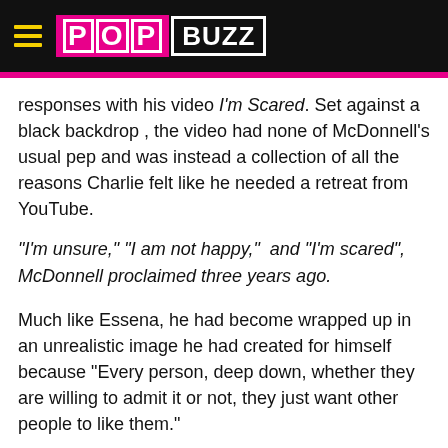PopBuzz
responses with his video I'm Scared. Set against a black backdrop , the video had none of McDonnell's usual pep and was instead a collection of all the reasons Charlie felt like he needed a retreat from YouTube.
"I'm unsure," "I am not happy," and "I'm scared", McDonnell proclaimed three years ago.
Much like Essena, he had become wrapped up in an unrealistic image he had created for himself because "Every person, deep down, whether they are willing to admit it or not, they just want other people to like them."
[Figure (screenshot): Video thumbnail showing a profile picture and the title 'I'm Scared' on a black background with three dots menu icon]